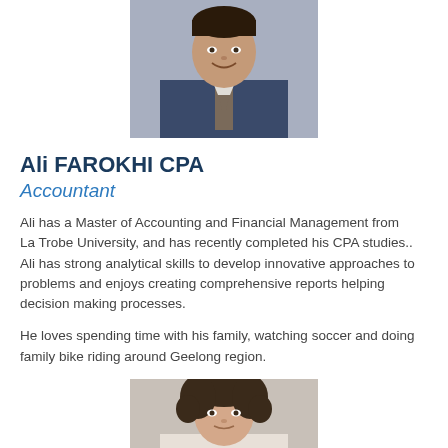[Figure (photo): Professional headshot of Ali Farokhi in a suit and tie, smiling, cropped at top of page]
Ali FAROKHI CPA
Accountant
Ali has a Master of Accounting and Financial Management from La Trobe University, and has recently completed his CPA studies.. Ali has strong analytical skills to develop innovative approaches to problems and enjoys creating comprehensive reports helping decision making processes.
He loves spending time with his family, watching soccer and doing family bike riding around Geelong region.
[Figure (photo): Professional headshot of a woman with curly hair, partially visible at bottom of page]